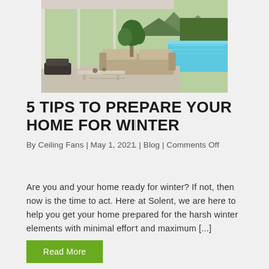[Figure (photo): Interior photo of a modern living room with large windows, beige sofa, glass coffee table, indoor plant, and a swimming pool visible outside in a garden setting with mountains in the background.]
5 TIPS TO PREPARE YOUR HOME FOR WINTER
By Ceiling Fans | May 1, 2021 | Blog | Comments Off
Are you and your home ready for winter? If not, then now is the time to act. Here at Solent, we are here to help you get your home prepared for the harsh winter elements with minimal effort and maximum [...]
Read More